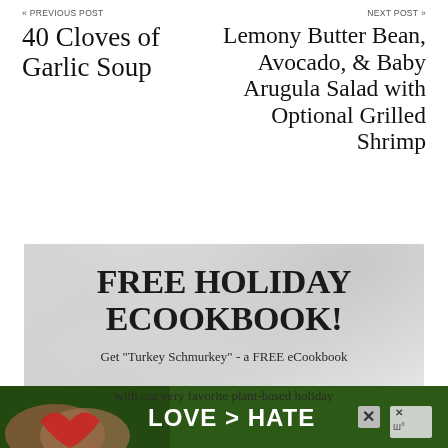« PREVIOUS POST
40 Cloves of Garlic Soup
NEXT POST »
Lemony Butter Bean, Avocado, & Baby Arugula Salad with Optional Grilled Shrimp
[Figure (infographic): Advertisement banner with marble texture background. Large bold text reads 'FREE HOLIDAY ECOOKBOOK!' with subtitle text 'Get "Turkey Schmurkey" - a FREE eCookbook with our very favorite plant-based holiday']
[Figure (infographic): Bottom advertisement bar with green background showing hands forming a heart shape, text reading 'LOVE > HATE', and close buttons with an X icon and a W logo]